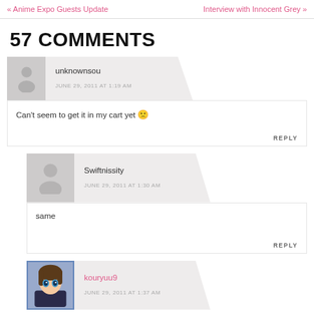« Anime Expo Guests Update    Interview with Innocent Grey »
57 COMMENTS
unknownsou
JUNE 29, 2011 AT 1:19 AM
Can't seem to get it in my cart yet 😐
REPLY
Swiftnissity
JUNE 29, 2011 AT 1:30 AM
same
REPLY
kouryuu9
JUNE 29, 2011 AT 1:37 AM